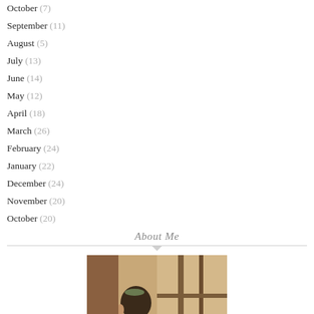October (7)
September (11)
August (5)
July (13)
June (14)
May (12)
April (18)
March (26)
February (24)
January (22)
December (24)
November (20)
October (20)
About Me
[Figure (photo): A person in profile view reading or looking at an open book/magazine near a window with warm brown tones]